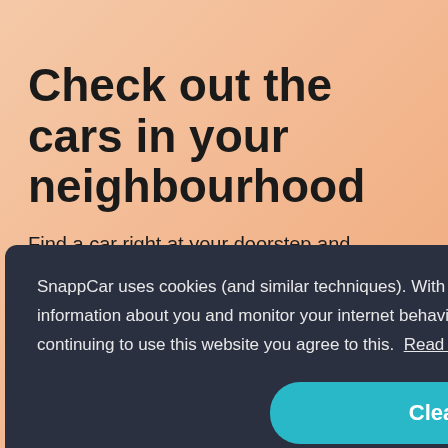Check out the cars in your neighbourhood
Find a car right at your doorstep and experience the
SnappCar uses cookies (and similar techniques). With these cookies we and third parties can collect information about you and monitor your internet behaviour within and possibly also outside our website. By continuing to use this website you agree to this. Read more
Clear!